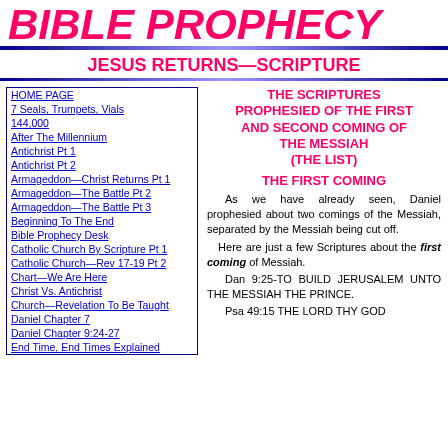BIBLE PROPHECY
JESUS RETURNS—SCRIPTURE
HOME PAGE
7 Seals, Trumpets, Vials
144,000
After The Millennium
Antichrist Pt 1
Antichrist Pt 2
Armageddon—Christ Returns Pt 1
Armageddon—The Battle Pt 2
Armageddon—The Battle Pt 3
Beginning To The End
Bible Prophecy Desk
Catholic Church By Scripture Pt 1
Catholic Church—Rev 17-19 Pt 2
Chart—We Are Here
Christ Vs. Antichrist
Church—Revelation To Be Taught
Daniel Chapter 7
Daniel Chapter 9:24-27
End Time, End Times Explained
THE SCRIPTURES PROPHESIED OF THE FIRST AND SECOND COMING OF THE MESSIAH (THE LIST)
THE FIRST COMING
As we have already seen, Daniel prophesied about two comings of the Messiah, separated by the Messiah being cut off.
Here are just a few Scriptures about the first coming of Messiah.
Dan 9:25-TO BUILD JERUSALEM UNTO THE MESSIAH THE PRINCE.
Psa 49:15 THE LORD THY GOD...